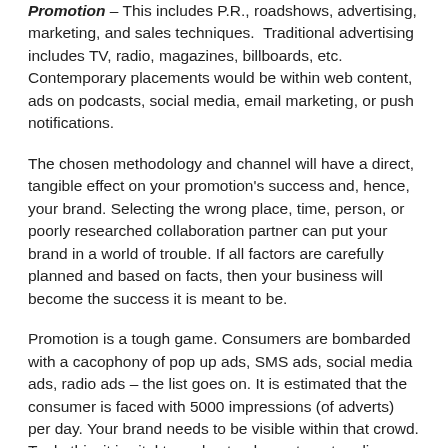Promotion – This includes P.R., roadshows, advertising, marketing, and sales techniques. Traditional advertising includes TV, radio, magazines, billboards, etc. Contemporary placements would be within web content, ads on podcasts, social media, email marketing, or push notifications.
The chosen methodology and channel will have a direct, tangible effect on your promotion's success and, hence, your brand. Selecting the wrong place, time, person, or poorly researched collaboration partner can put your brand in a world of trouble. If all factors are carefully planned and based on facts, then your business will become the success it is meant to be.
Promotion is a tough game. Consumers are bombarded with a cacophony of pop up ads, SMS ads, social media ads, radio ads – the list goes on. It is estimated that the consumer is faced with 5000 impressions (of adverts) per day. Your brand needs to be visible within that crowd. To do this, it is vital to understand your target audience and know what they require of you (not what YOU think they should get from you). This will put you a